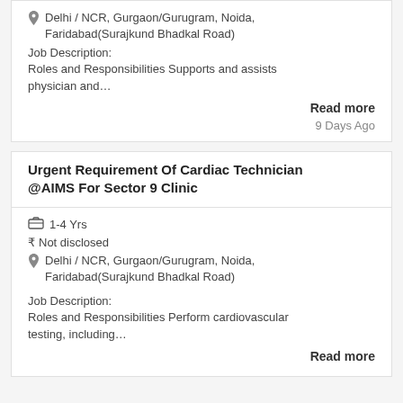Delhi / NCR, Gurgaon/Gurugram, Noida, Faridabad(Surajkund Bhadkal Road)
Job Description:
Roles and Responsibilities Supports and assists physician and…
Read more
9 Days Ago
Urgent Requirement Of Cardiac Technician @AIMS For Sector 9 Clinic
1-4 Yrs
Not disclosed
Delhi / NCR, Gurgaon/Gurugram, Noida, Faridabad(Surajkund Bhadkal Road)
Job Description:
Roles and Responsibilities Perform cardiovascular testing, including…
Read more